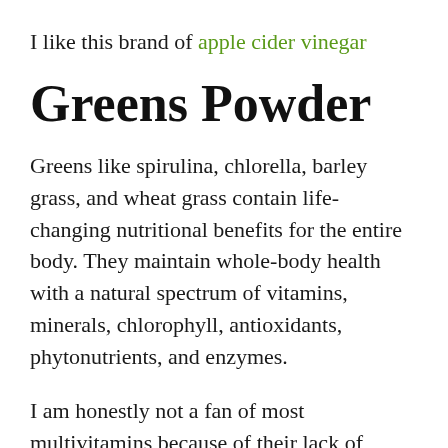I like this brand of apple cider vinegar
Greens Powder
Greens like spirulina, chlorella, barley grass, and wheat grass contain life-changing nutritional benefits for the entire body. They maintain whole-body health with a natural spectrum of vitamins, minerals, chlorophyll, antioxidants, phytonutrients, and enzymes.
I am honestly not a fan of most multivitamins because of their lack of absorbability in the body. For my